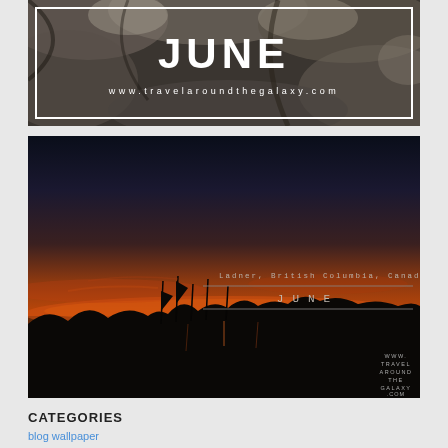[Figure (photo): Top image with rocky stone texture background and white border frame containing bold text 'JUNE' and website URL www.travelaroundthegalaxy.com in white letters]
[Figure (photo): Sunset/dusk photo of Ladner, British Columbia, Canada showing silhouettes of boats and trees against a dark orange and deep blue sky, reflected in water. Text overlay with location name, 'JUNE', and watermark www.travelaroundthegalaxy.com]
CATEGORIES
blog wallpaper